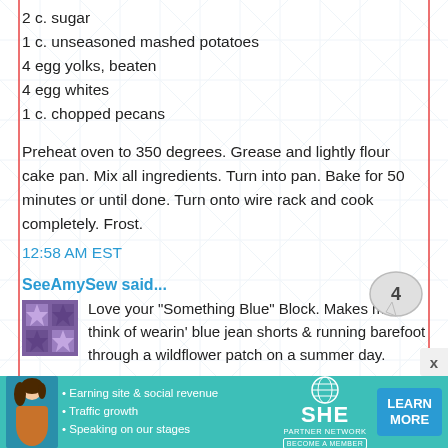2 c. sugar
1 c. unseasoned mashed potatoes
4 egg yolks, beaten
4 egg whites
1 c. chopped pecans
Preheat oven to 350 degrees. Grease and lightly flour cake pan. Mix all ingredients. Turn into pan. Bake for 50 minutes or until done. Turn onto wire rack and cook completely. Frost.
12:58 AM EST
SeeAmySew said...
Love your "Something Blue" Block. Makes me think of wearin' blue jean shorts & running barefoot through a wildflower patch on a summer day.
My fave and my Family's must have Recipe is my "Strawberry/Brownie Trifle"
[Figure (infographic): SHE Partner Network advertisement banner with woman photo, bullet points about earning site & social revenue, traffic growth, speaking on our stages, SHE logo, and LEARN MORE button]